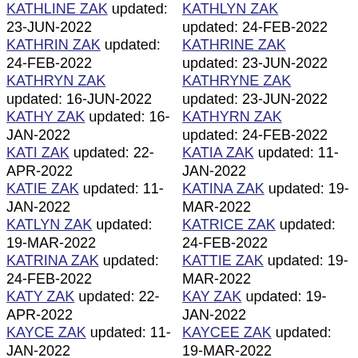KATHLINE ZAK updated: 23-JUN-2022
KATHRIN ZAK updated: 24-FEB-2022
KATHRYN ZAK updated: 16-JUN-2022
KATHY ZAK updated: 16-JAN-2022
KATI ZAK updated: 22-APR-2022
KATIE ZAK updated: 11-JAN-2022
KATLYN ZAK updated: 19-MAR-2022
KATRINA ZAK updated: 24-FEB-2022
KATY ZAK updated: 22-APR-2022
KAYCE ZAK updated: 11-JAN-2022
KATHLYN ZAK updated: 24-FEB-2022
KATHRINE ZAK updated: 23-JUN-2022
KATHRYNE ZAK updated: 23-JUN-2022
KATHYRN ZAK updated: 24-FEB-2022
KATIA ZAK updated: 11-JAN-2022
KATINA ZAK updated: 19-MAR-2022
KATRICE ZAK updated: 24-FEB-2022
KATTIE ZAK updated: 19-MAR-2022
KAY ZAK updated: 19-JAN-2022
KAYCEE ZAK updated: 19-MAR-2022